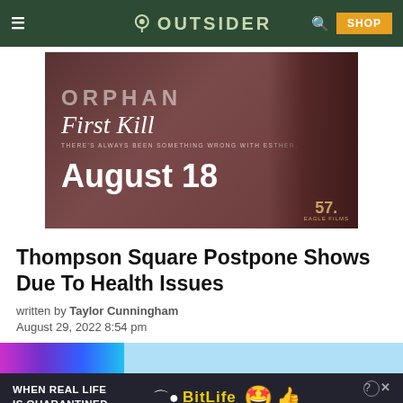OUTSIDER
[Figure (photo): Movie promotional banner for 'Orphan: First Kill' with text 'First Kill', tagline 'There's always been something wrong with Esther.', and release date 'August 18'. Eagle Films logo in bottom right corner.]
Thompson Square Postpone Shows Due To Health Issues
written by Taylor Cunningham
August 29, 2022 8:54 pm
[Figure (photo): Bottom advertisement banner: 'When Real Life Is Quarantined' BitLife ad with rainbow and emoji graphics on dark background.]